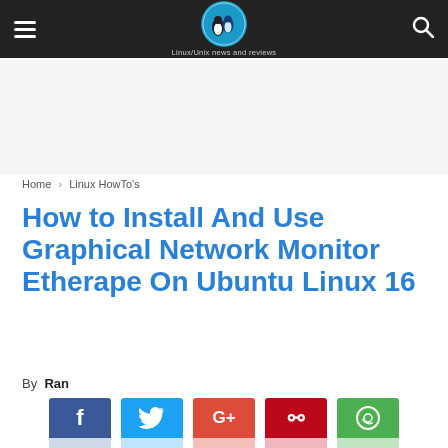Unixmen — Linux/Unix news and reviews
Home › Linux HowTo's
How to Install And Use Graphical Network Monitor Etherape On Ubuntu Linux 16
By Ran
[Figure (infographic): Social sharing buttons: Facebook, Twitter, Google+, Pinterest, WhatsApp]